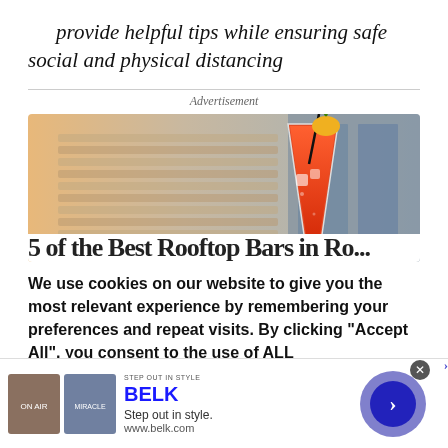provide helpful tips while ensuring safe social and physical distancing
Advertisement
[Figure (photo): Advertisement banner showing a tall orange cocktail drink with pineapple garnish against a blurred city building background]
We use cookies on our website to give you the most relevant experience by remembering your preferences and repeat visits. By clicking “Accept All”, you consent to the use of ALL
[Figure (infographic): Belk advertisement banner at bottom: STEP OUT IN STYLE / BELK / Step out in style. / www.belk.com with two small product images and a blue arrow navigation button]